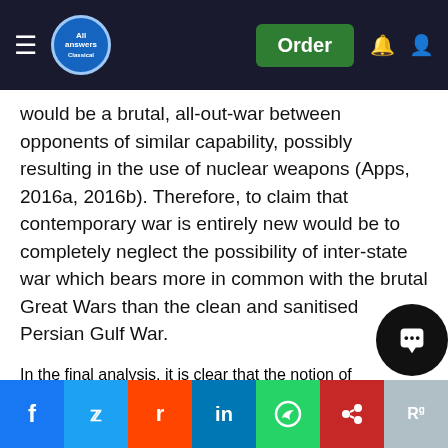All Answers Ltd — Order
would be a brutal, all-out-war between opponents of similar capability, possibly resulting in the use of nuclear weapons (Apps, 2016a, 2016b). Therefore, to claim that contemporary war is entirely new would be to completely neglect the possibility of inter-state war which bears more in common with the brutal Great Wars than the clean and sanitised Persian Gulf War.
In the final analysis, it is clear that the notion of contemporary warfare is a meaningless one. Clausewitz's trinity holds true in every war and war adapts its characteristics to the unique context of each war (Schuurman, 2010). The means and aims of the war are still fundamentally determined by the people's appetite for war, the military's means of making war and the government's direction of strategy, making any arbitrary distinction between contemporary and past wars is
Facebook Twitter Reddit LinkedIn WhatsApp Mendeley ResearchGate share buttons